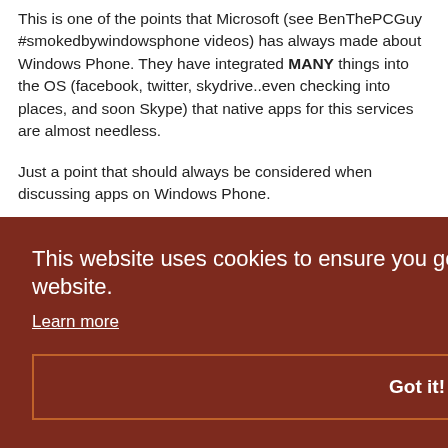This is one of the points that Microsoft (see BenThePCGuy #smokedbywindowsphone videos) has always made about Windows Phone. They have integrated MANY things into the OS (facebook, twitter, skydrive..even checking into places, and soon Skype) that native apps for this services are almost needless.
Just a point that should always be considered when discussing apps on Windows Phone.
This website uses cookies to ensure you get the best experience on our website.
Learn more
Got it!